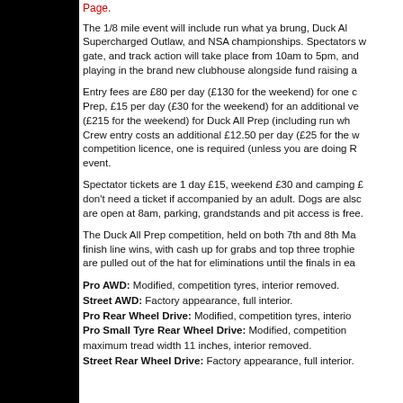Page.
The 1/8 mile event will include run what ya brung, Duck All Supercharged Outlaw, and NSA championships. Spectators w gate, and track action will take place from 10am to 5pm, ano playing in the brand new clubhouse alongside fund raising a
Entry fees are £80 per day (£130 for the weekend) for one c Prep, £15 per day (£30 for the weekend) for an additional ve (£215 for the weekend) for Duck All Prep (including run wh Crew entry costs an additional £12.50 per day (£25 for the w competition licence, one is required (unless you are doing R event.
Spectator tickets are 1 day £15, weekend £30 and camping £ don't need a ticket if accompanied by an adult. Dogs are also are open at 8am, parking, grandstands and pit access is free.
The Duck All Prep competition, held on both 7th and 8th Ma finish line wins, with cash up for grabs and top three trophie are pulled out of the hat for eliminations until the finals in ea
Pro AWD: Modified, competition tyres, interior removed.
Street AWD: Factory appearance, full interior.
Pro Rear Wheel Drive: Modified, competition tyres, interio
Pro Small Tyre Rear Wheel Drive: Modified, competition maximum tread width 11 inches, interior removed.
Street Rear Wheel Drive: Factory appearance, full interior.